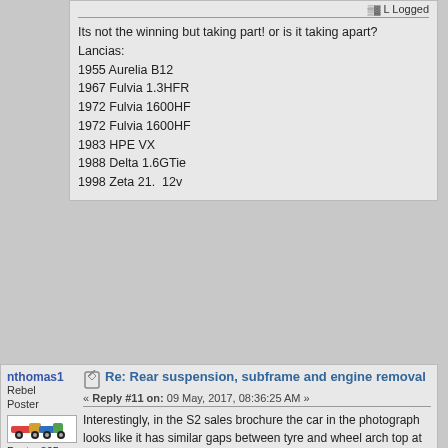Logged
Its not the winning but taking part! or is it taking apart?
Lancias:
1955 Aurelia B12
1967 Fulvia 1.3HFR
1972 Fulvia 1600HF
1972 Fulvia 1600HF
1983 HPE VX
1988 Delta 1.6GTie
1998 Zeta 21.  12v
nthomas1
Rebel Poster
Posts: 805
Re: Rear suspension, subframe and engine removal
« Reply #11 on: 09 May, 2017, 08:36:25 AM »
Interestingly, in the S2 sales brochure the car in the photograph looks like it has similar gaps between tyre and wheel arch top at the front and rear, whereas the diagram underneath appears to show the car with a nose-up attitude.  I was hoping I could find a factory picture that would allow me to measure the ratio between tyre diameter and the gap between top of tyre and top of wheel arch!
Screen Shot 2017-05-09 at 10.26.45.png (1903.14 KB, 1246x887 - viewed 1379 times.)
Logged
Next To